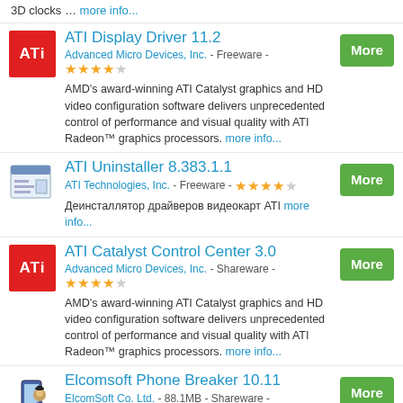3D clocks … more info...
ATI Display Driver 11.2
Advanced Micro Devices, Inc. - Freeware - ★★★★☆
AMD's award-winning ATI Catalyst graphics and HD video configuration software delivers unprecedented control of performance and visual quality with ATI Radeon™ graphics processors. more info...
ATI Uninstaller 8.383.1.1
ATI Technologies, Inc. - Freeware - ★★★★☆
Деинсталлятор драйверов видеокарт ATI more info...
ATI Catalyst Control Center 3.0
Advanced Micro Devices, Inc. - Shareware - ★★★★☆
AMD's award-winning ATI Catalyst graphics and HD video configuration software delivers unprecedented control of performance and visual quality with ATI Radeon™ graphics processors. more info...
Elcomsoft Phone Breaker 10.11
ElcomSoft Co. Ltd. - 88.1MB - Shareware - ☆☆☆☆☆
Gain full access to information stored in password-protected